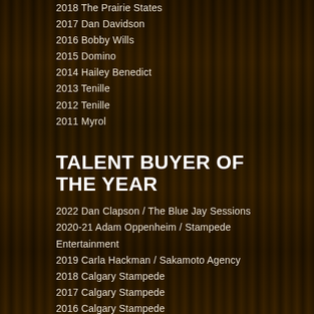2018 The Prairie States
2017 Dan Davidson
2016 Bobby Wills
2015 Domino
2014 Hailey Benedict
2013 Tenille
2012 Tenille
2011 Myrol
TALENT BUYER OF THE YEAR
2022 Dan Clapson / The Blue Jay Sessions
2020-21 Adam Oppenheim / Stampede Entertainment
2019 Carla Hackman / Sakamoto Agency
2018 Calgary Stampede
2017 Calgary Stampede
2016 Calgary Stampede
2015 Calgary Stampede
2014 Calgary Stampede & Panhandle Productions
2013 Panhandle Productions